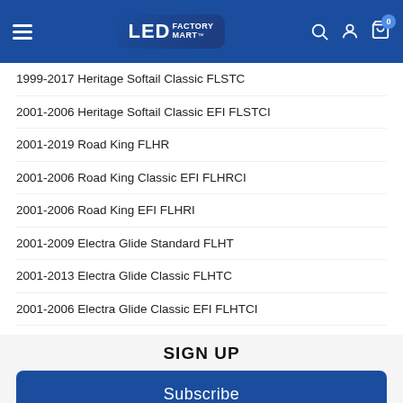[Figure (logo): LED Factory Mart logo in blue header with hamburger menu, search, account, and cart icons]
1999-2017 Heritage Softail Classic FLSTC
2001-2006 Heritage Softail Classic EFI FLSTCI
2001-2019 Road King FLHR
2001-2006 Road King Classic EFI FLHRCI
2001-2006 Road King EFI FLHRI
2001-2009 Electra Glide Standard FLHT
2001-2013 Electra Glide Classic FLHTC
2001-2006 Electra Glide Classic EFI FLHTCI
2001-2006 Ultra Classic Electra Glide EFI FLHTCUI
SIGN UP
Subscribe